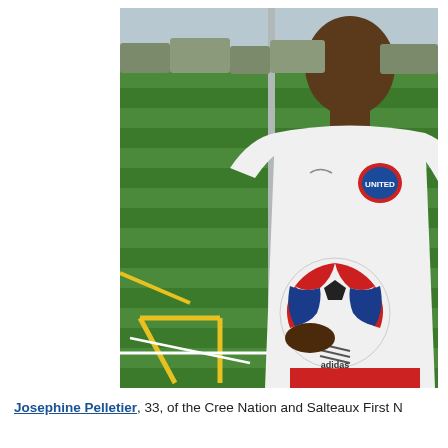[Figure (photo): A man wearing a white soccer jersey with a 'United' logo holds a colorful soccer ball (Adidas, red/blue/white design) on a green artificial turf field. A metal goalpost is visible behind him. Yellow and white field markings appear on the turf. Trees are visible in the background.]
Josephine Pelletier, 33, of the Cree Nation and Salteaux First N...